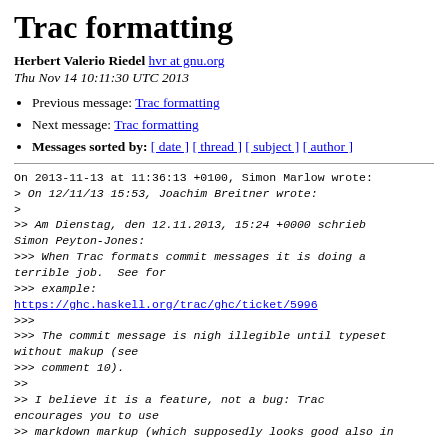Trac formatting
Herbert Valerio Riedel hvr at gnu.org
Thu Nov 14 10:11:30 UTC 2013
Previous message: Trac formatting
Next message: Trac formatting
Messages sorted by: [ date ] [ thread ] [ subject ] [ author ]
On 2013-11-13 at 11:36:13 +0100, Simon Marlow wrote:
> On 12/11/13 15:53, Joachim Breitner wrote:
>
>> Am Dienstag, den 12.11.2013, 15:24 +0000 schrieb Simon Peyton-Jones:
>>> When Trac formats commit messages it is doing a terrible job.  See for
>>> example:
https://ghc.haskell.org/trac/ghc/ticket/5996
>>>
>>> The commit message is nigh illegible until typeset without makup (see
>>> comment 10).
>>
>> I believe it is a feature, not a bug: Trac encourages you to use
>> markdown markup (which supposedly looks good also in...